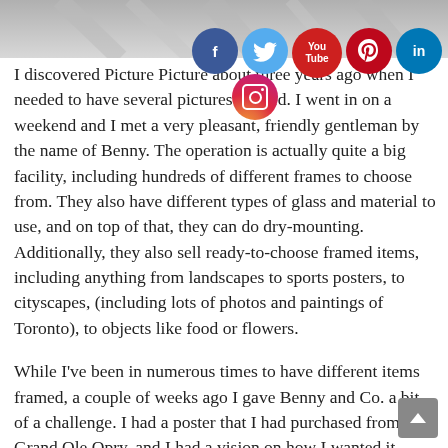[Figure (photo): Top portion of a photo, partially cropped, showing a surface with some grey/white pattern]
[Figure (infographic): Social media icons: Facebook (blue circle with f), Twitter (light blue circle with bird), YouTube (red circle with You/Tube), Pinterest (red circle with P), LinkedIn (blue circle with in), Instagram (gradient circle with camera icon)]
I discovered Picture Picture about three years ago when I needed to have several pictures framed. I went in on a weekend and I met a very pleasant, friendly gentleman by the name of Benny. The operation is actually quite a big facility, including hundreds of different frames to choose from. They also have different types of glass and material to use, and on top of that, they can do dry-mounting. Additionally, they also sell ready-to-choose framed items, including anything from landscapes to sports posters, to cityscapes, (including lots of photos and paintings of Toronto), to objects like food or flowers.
While I've been in numerous times to have different items framed, a couple of weeks ago I gave Benny and Co. a bit of a challenge. I had a poster that I had purchased from the Grand Ole Opry, and I had a vision on how I wanted it framed, so I brought him a couple of pieces of barn board (thick wood from the side of a barn) and wanted to somehow affix the poster to the wood.